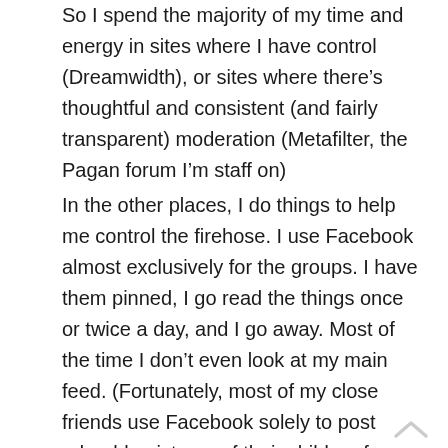So I spend the majority of my time and energy in sites where I have control (Dreamwidth), or sites where there’s thoughtful and consistent (and fairly transparent) moderation (Metafilter, the Pagan forum I’m staff on)
In the other places, I do things to help me control the firehose. I use Facebook almost exclusively for the groups. I have them pinned, I go read the things once or twice a day, and I go away. Most of the time I don’t even look at my main feed. (Fortunately, most of my close friends use Facebook solely to post adorable pictures of their children for grandparents or similar things, and our actual content-heavy conversation happens elsewhere.)